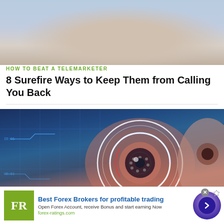[Figure (photo): Person in blue shirt leaning forward with head down, stress or concentration pose]
HOW TO BEAT A TELEMARKETER
8 Surefire Ways to Keep Them from Calling You Back
[Figure (photo): Close-up of human eye with futuristic digital overlay, circular targeting reticle, blue and red digital graphics on a blue/teal background]
HOW TO
Best Forex Brokers for profitable trading
Open Forex Account, receive Bonus and start earning Now
forex-ratings.com